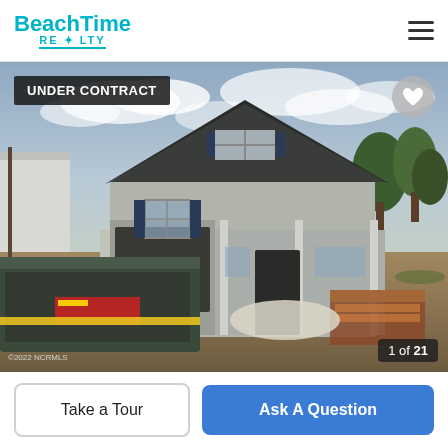[Figure (logo): Beach Time Realty logo in teal/cyan color]
[Figure (photo): House under construction with craftsman-style architecture, gray siding, dark roof, large dumpster in front, construction materials scattered, cloudy sky. Badge shows UNDER CONTRACT. Image counter shows 1 of 21.]
UNDER CONTRACT
1 of 21
©2022 NCRMLS
Take a Tour
Ask A Question